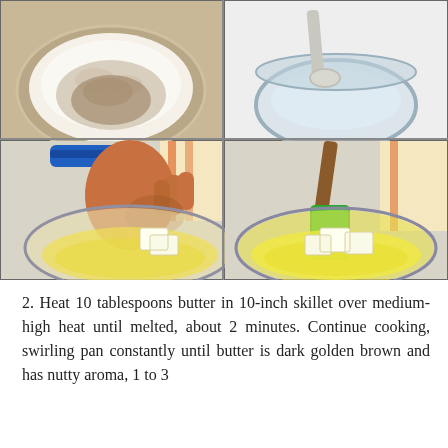[Figure (photo): Four-panel photo grid showing cooking steps: top-left shows flour or sugar in a round bowl viewed from above; top-right shows a spoon resting over a glass bowl; bottom-left shows a child's hand dropping butter cubes into a glass bowl with liquid; bottom-right shows a green spatula stirring butter cubes melting in a glass bowl with yellow liquid.]
2. Heat 10 tablespoons butter in 10-inch skillet over medium-high heat until melted, about 2 minutes. Continue cooking, swirling pan constantly until butter is dark golden brown and has nutty aroma, 1 to 3